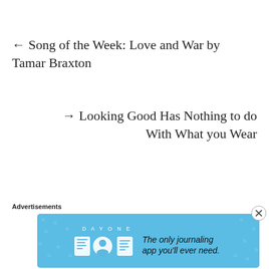← Song of the Week: Love and War by Tamar Braxton
→ Looking Good Has Nothing to do With What you Wear
Advertisements
[Figure (illustration): Day One journaling app advertisement banner with blue background, app icons, and text 'The only journaling app you'll ever need.']